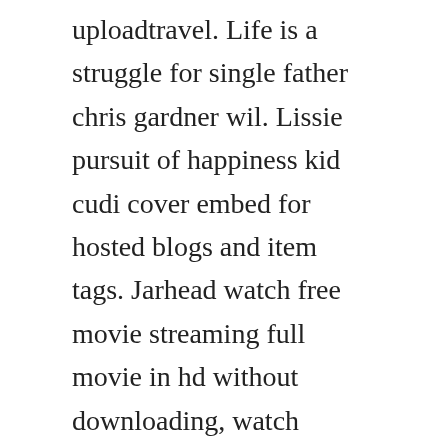uploadtravel. Life is a struggle for single father chris gardner wil. Lissie pursuit of happiness kid cudi cover embed for hosted blogs and item tags. Jarhead watch free movie streaming full movie in hd without downloading, watch jarhead full movie online streaming free and fun jarhead free movie stream only here today, we can see that hundreds thousands of people looking for free jarhead and watch it on their sweat house with internet connection.
The pursuit of happyness soundtrack music